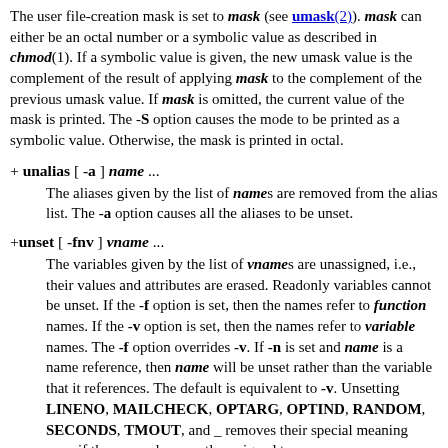The user file-creation mask is set to mask (see umask(2)). mask can either be an octal number or a symbolic value as described in chmod(1). If a symbolic value is given, the new umask value is the complement of the result of applying mask to the complement of the previous umask value. If mask is omitted, the current value of the mask is printed. The -S option causes the mode to be printed as a symbolic value. Otherwise, the mask is printed in octal.
+ unalias [ -a ] name ...
The aliases given by the list of names are removed from the alias list. The -a option causes all the aliases to be unset.
+unset [ -fnv ] vname ...
The variables given by the list of vnames are unassigned, i.e., their values and attributes are erased. Readonly variables cannot be unset. If the -f option is set, then the names refer to function names. If the -v option is set, then the names refer to variable names. The -f option overrides -v. If -n is set and name is a name reference, then name will be unset rather than the variable that it references. The default is equivalent to -v. Unsetting LINENO, MAILCHECK, OPTARG, OPTIND, RANDOM, SECONDS, TMOUT, and _ removes their special meaning even if they are subsequently assigned to.